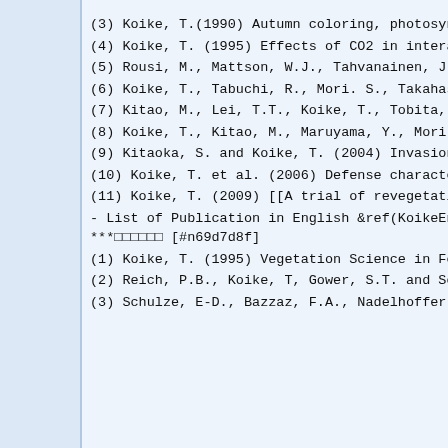(3) Koike, T.(1990) Autumn coloring, photosyntheti...
(4) Koike, T. (1995) Effects of CO2 in interaction...
(5) Rousi, M., Mattson, W.J., Tahvanainen, J., Koi...
(6) Koike, T., Tabuchi, R., Mori. S., Takahashi, K...
(7) Kitao, M., Lei, T.T., Koike, T., Tobita, H. an...
(8) Koike, T., Kitao, M., Maruyama, Y., Mori, S., ...
(9) Kitaoka, S. and Koike, T. (2004) Invasion of b...
(10) Koike, T. et al. (2006) Defense characteristi...
(11) Koike, T. (2009) [[A trial of revegetation pr...
- List of Publication in English &ref(KoikeEngPub....
***□□□□□□ [#n69d7d8f]
(1) Koike, T. (1995) Vegetation Science in Forestr...
(2) Reich, P.B., Koike, T, Gower, S.T. and Schoetl...
(3) Schulze, E-D., Bazzaz, F.A., Nadelhoffer, K....